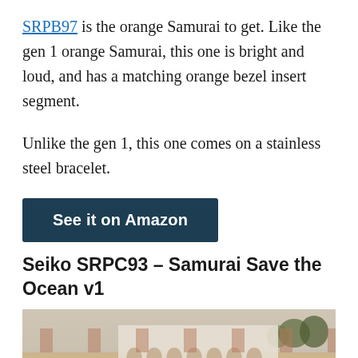SRPB97 is the orange Samurai to get. Like the gen 1 orange Samurai, this one is bright and loud, and has a matching orange bezel insert segment.
Unlike the gen 1, this one comes on a stainless steel bracelet.
See it on Amazon
Seiko SRPC93 – Samurai Save the Ocean v1
[Figure (photo): Photo of a Seiko Samurai Save the Ocean watch outdoors with a blurred background showing arched buildings and foliage. A blue scroll-to-top button is visible in the bottom right corner.]